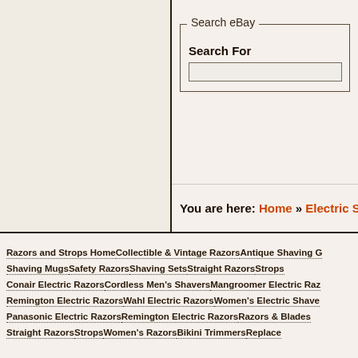[Figure (screenshot): Left panel - beige/cream colored empty sidebar panel with dark border]
Search eBay
Search For
You are here: Home » Electric Shave...
Razors and Strops Home
Collectible & Vintage Razors
Antique Shaving G...
Shaving Mugs
Safety Razors
Shaving Sets
Straight Razors
Strops
Conair Electric Razors
Cordless Men's Shavers
Mangroomer Electric Raz...
Remington Electric Razors
Wahl Electric Razors
Women's Electric Shave...
Panasonic Electric Razors
Remington Electric Razors
Razors & Blades
Straight Razors
Strops
Women's Razors
Bikini Trimmers
Replace...